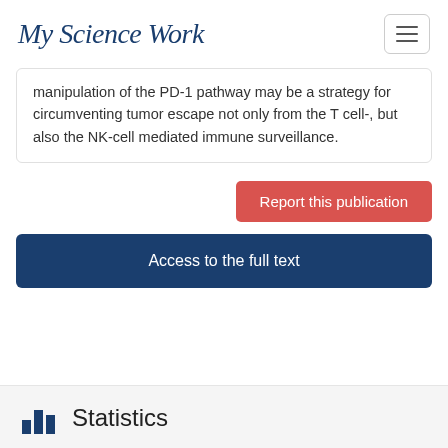MyScienceWork
manipulation of the PD-1 pathway may be a strategy for circumventing tumor escape not only from the T cell-, but also the NK-cell mediated immune surveillance.
Report this publication
Access to the full text
Statistics